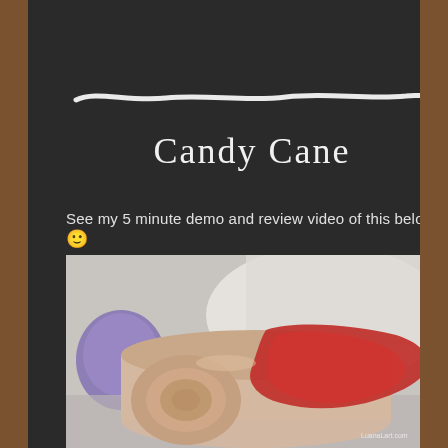[Figure (illustration): Decorative white chalk-style wavy divider line on dark chalkboard background]
Candy Cane
See my 5 minute demo and review video of this below 🙂
[Figure (photo): Close-up photo of a candy cane-style ice cream or frozen treat roll with red and white swirled interior, cross-section visible, purple object in background, on white surface. Watermark: LuanaLart.com]